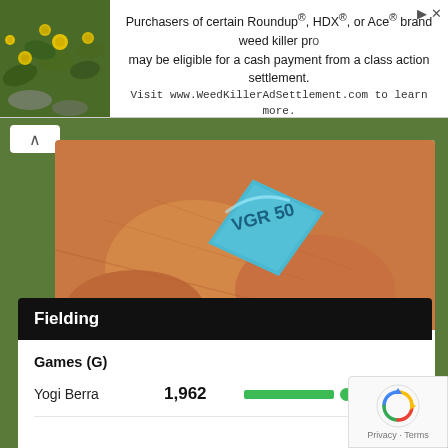[Figure (screenshot): Advertisement banner: image of flowering plants on left, text about Roundup class action settlement on right with close button]
Purchasers of certain Roundup®, HDX®, or Ace® brand weed killer products may be eligible for a cash payment from a class action settlement. Visit www.WeedKillerAdSettlement.com to learn more.
[Figure (photo): Close-up photo of a blue diamond-shaped pill labeled VGR 50 resting on a person's fingers, for article about ED treatment]
Urologist: 80% of Men with E.D Don't Know About This Easy Fix (Try It Tonight)
OnePunchNews
Fielding
Games (G)
Yogi Berra   1,962